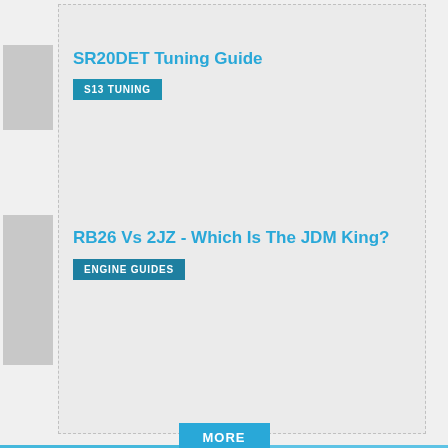SR20DET Tuning Guide
S13 TUNING
RB26 Vs 2JZ - Which Is The JDM King?
ENGINE GUIDES
MORE
DRIVER BLOG: Nürburgring Roadtripping Part II: GP Circuit Demo
EVENT: Drift Union Invitational
[Figure (logo): Facebook icon (white F on dark background)]
[Figure (logo): Instagram icon (white camera outline)]
[Figure (logo): Pinterest icon (white P on circle)]
[Figure (infographic): Hefty advertisement banner: HEFTY STRONG, FABULOSO FRESH]